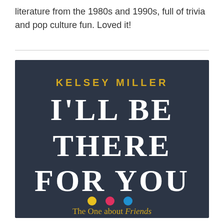literature from the 1980s and 1990s, full of trivia and pop culture fun. Loved it!
[Figure (illustration): Book cover of 'I'll Be There For You: The One about Friends' by Kelsey Miller. Dark navy background with author name in gold at top, large white serif title text, three colored dots (yellow, pink, blue) and subtitle in gold italic at bottom.]